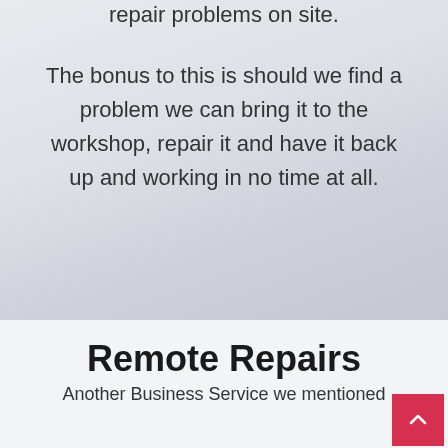repair problems on site.
The bonus to this is should we find a problem we can bring it to the workshop, repair it and have it back up and working in no time at all.
Remote Repairs
Another Business Service we mentioned